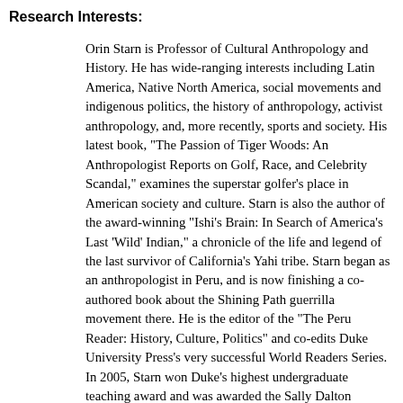Research Interests:
Orin Starn is Professor of Cultural Anthropology and History. He has wide-ranging interests including Latin America, Native North America, social movements and indigenous politics, the history of anthropology, activist anthropology, and, more recently, sports and society. His latest book, "The Passion of Tiger Woods: An Anthropologist Reports on Golf, Race, and Celebrity Scandal," examines the superstar golfer's place in American society and culture. Starn is also the author of the award-winning "Ishi's Brain: In Search of America's Last 'Wild' Indian," a chronicle of the life and legend of the last survivor of California's Yahi tribe. Starn began as an anthropologist in Peru, and is now finishing a co-authored book about the Shining Path guerrilla movement there. He is the editor of the "The Peru Reader: History, Culture, Politics" and co-edits Duke University Press's very successful World Readers Series. In 2005, Starn won Duke's highest undergraduate teaching award and was awarded the Sally Dalton Robinson Professorship in Cultural Anthropology. Starn also edited the recent volume "Writing Culture and the Life of Anthropology" from Duke University Press about the state of the discipline today, and is the co-editor of two other books -- "Indigenous Experience Today" and "Between